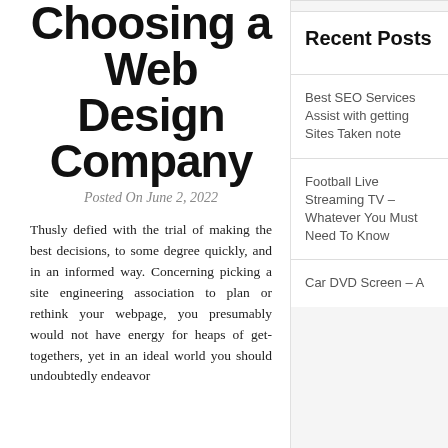Choosing a Web Design Company
Posted On June 2, 2022
Thusly defied with the trial of making the best decisions, to some degree quickly, and in an informed way. Concerning picking a site engineering association to plan or rethink your webpage, you presumably would not have energy for heaps of get-togethers, yet in an ideal world you should undoubtedly endeavor
Recent Posts
Best SEO Services Assist with getting Sites Taken note
Football Live Streaming TV – Whatever You Must Need To Know
Car DVD Screen – A